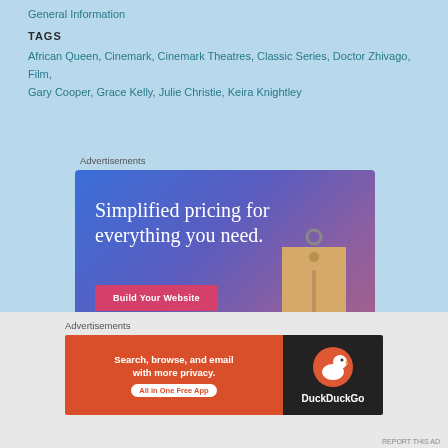General Information
TAGS
African Queen, Cinemark, Cinemark Theatres, Classic Series, Doctor Zhivago, Film, Gary Cooper, Grace Kelly, Julie Christie, Keira Knightley
Advertisements
[Figure (illustration): Advertisement for website builder: gradient blue-purple background with text 'Simplified pricing for everything you need.' and a pink 'Build Your Website' button, with a price tag illustration on the right.]
Advertisements
[Figure (illustration): DuckDuckGo advertisement: orange-red left side with text 'Search, browse, and email with more privacy. All in One Free App', black right side with DuckDuckGo logo and duck icon.]